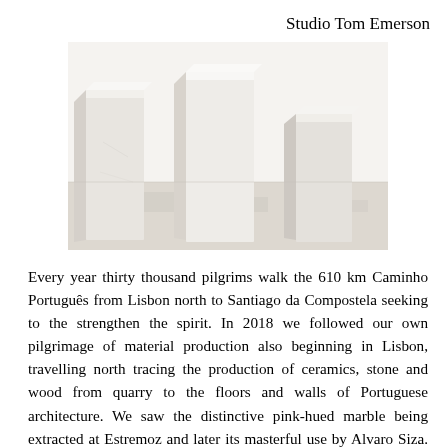Studio Tom Emerson
[Figure (photo): Photograph of white plaster or stone block models arranged on a flat surface, showing architectural maquettes with vertical rectangular forms.]
Every year thirty thousand pilgrims walk the 610 km Caminho Português from Lisbon north to Santiago da Compostela seeking to the strengthen the spirit. In 2018 we followed our own pilgrimage of material production also beginning in Lisbon, travelling north tracing the production of ceramics, stone and wood from quarry to the floors and walls of Portuguese architecture. We saw the distinctive pink-hued marble being extracted at Estremoz and later its masterful use by Alvaro Siza. Artists, manufacturers and